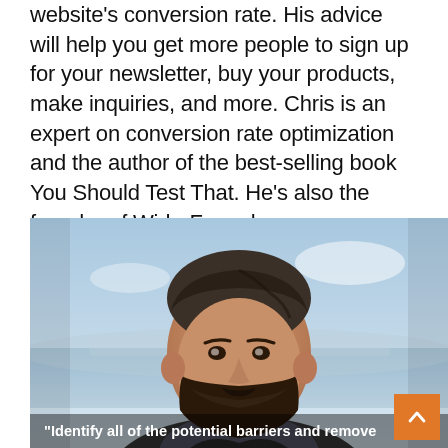website's conversion rate. His advice will help you get more people to sign up for your newsletter, buy your products, make inquiries, and more. Chris is an expert on conversion rate optimization and the author of the best-selling book You Should Test That. He's also the founder of WiderFunnel.
[Figure (photo): Headshot of a smiling man with a beard and dark hair, wearing a suit, photographed outdoors with a blurred blue/grey background. Overlay quote text at bottom: "Identify all of the potential barriers and remove". Orange scroll-to-top button in bottom right corner.]